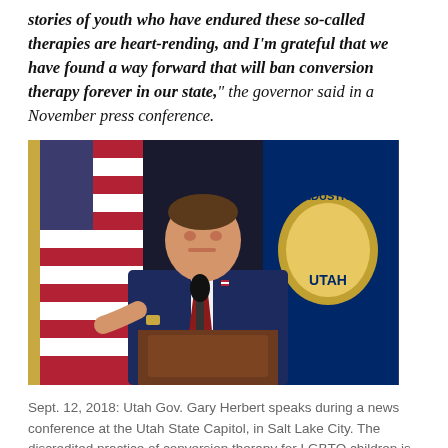stories of youth who have endured these so-called therapies are heart-rending, and I'm grateful that we have found a way forward that will ban conversion therapy forever in our state," the governor said in a November press conference.
[Figure (photo): Utah Gov. Gary Herbert speaking at a podium with microphone, American flags and Utah state flag visible in background, September 12, 2018 at the Utah State Capitol.]
Sept. 12, 2018: Utah Gov. Gary Herbert speaks during a news conference at the Utah State Capitol, in Salt Lake City. The discredited practice of conversion therapy for LGBTQ children is now banned in Utah, making it the 19th state and